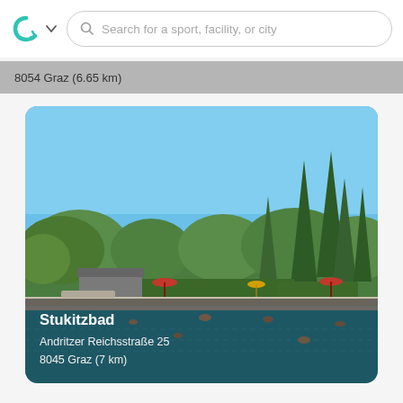[Figure (screenshot): App top navigation bar with a teal circular logo/arrow icon, a dropdown chevron, and a search bar with text 'Search for a sport, facility, or city']
8054 Graz (6.65 km)
[Figure (photo): Outdoor public swimming pool (Stukitzbad) on a sunny day with clear blue sky, surrounded by green trees including tall conifers, pool water is blue-green, people swimming and sunbathing]
Stukitzbad
Andritzer Reichsstraße 25
8045 Graz (7 km)